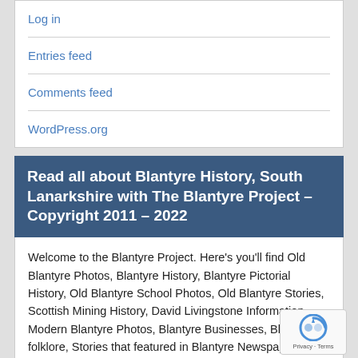Log in
Entries feed
Comments feed
WordPress.org
Read all about Blantyre History, South Lanarkshire with The Blantyre Project – Copyright 2011 – 2022
Welcome to the Blantyre Project. Here's you'll find Old Blantyre Photos, Blantyre History, Blantyre Pictorial History, Old Blantyre School Photos, Old Blantyre Stories, Scottish Mining History, David Livingstone Information, Modern Blantyre Photos, Blantyre Businesses, Blantyre folklore, Stories that featured in Blantyre Newspapers, Blantyre Pubs, Blantyre Churches, Blantyre Clubs & Organisations, Blantyre Charities, Blantyre Wedding Venues, Blantyre Houses, Blantyre People, Blantyre Music & Groups, Things to do in Blantyre, Blantyre Ancestry & Tracing your Blantyre Roots, Blantyre News, Blantyre's Parks, What's on in Blantyre and much more!